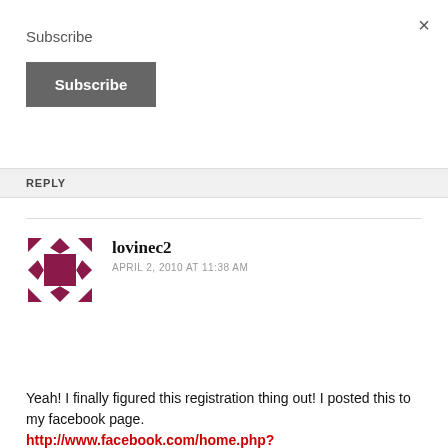Subscribe
Subscribe (button)
REPLY
[Figure (illustration): User avatar: a decorative geometric pattern with dark magenta/maroon diamond and triangle shapes on a white background, arranged in a circular tile pattern.]
lovinec2
APRIL 2, 2010 AT 11:38 AM
Yeah! I finally figured this registration thing out! I posted this to my facebook page. http://www.facebook.com/home.php?#!/lori.vinskus?v=feed&story_fbid=110009269026463